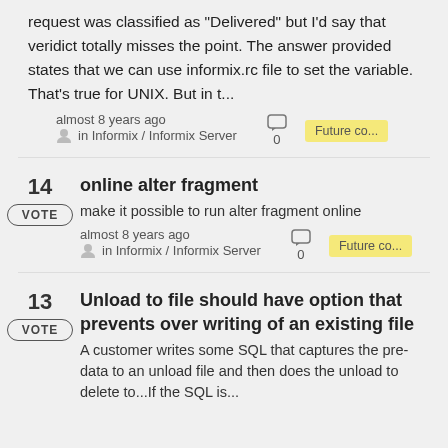request was classified as "Delivered" but I'd say that veridict totally misses the point. The answer provided states that we can use informix.rc file to set the variable. That's true for UNIX. But in t...
almost 8 years ago
in Informix / Informix Server
0
Future co...
online alter fragment
14
VOTE
make it possible to run alter fragment online
almost 8 years ago
in Informix / Informix Server
0
Future co...
Unload to file should have option that prevents over writing of an existing file
13
VOTE
A customer writes some SQL that captures the pre-data to an unload file and then does the unload to delete to...If the SQL is...